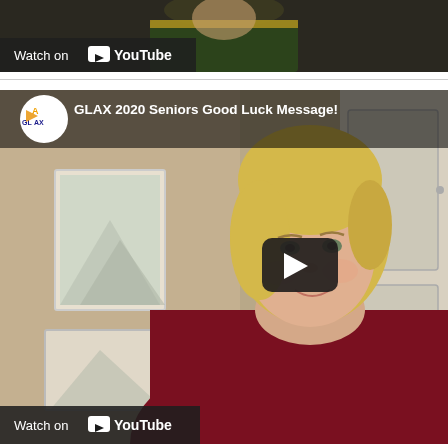[Figure (screenshot): Top portion of a YouTube video embed showing a person in a green and yellow jersey, with 'Watch on YouTube' overlay at the bottom left.]
[Figure (screenshot): YouTube video embed titled 'GLAX 2020 Seniors Good Luck Message!' showing a young blonde woman smiling at camera in a dark red shirt, in a bedroom setting. Channel logo (GLAX) visible top left. Play button overlay in center. 'Watch on YouTube' bar at bottom left.]